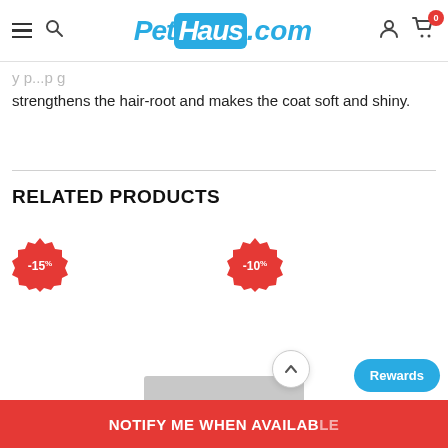PetHaus.com
strengthens the hair-root and makes the coat soft and shiny.
RELATED PRODUCTS
[Figure (infographic): Red sale badge showing -15%]
[Figure (infographic): Red sale badge showing -10%]
NOTIFY ME WHEN AVAILABLE
Rewards